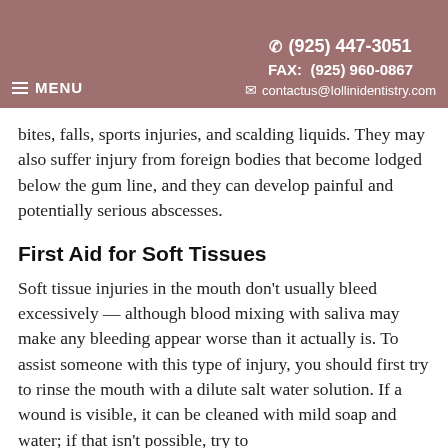(925) 447-3051  FAX: (925) 960-0867  contactus@lollinidentistry.com  MENU
bites, falls, sports injuries, and scalding liquids. They may also suffer injury from foreign bodies that become lodged below the gum line, and they can develop painful and potentially serious abscesses.
First Aid for Soft Tissues
Soft tissue injuries in the mouth don't usually bleed excessively — although blood mixing with saliva may make any bleeding appear worse than it actually is. To assist someone with this type of injury, you should first try to rinse the mouth with a dilute salt water solution. If a wound is visible, it can be cleaned with mild soap and water; if that isn't possible, try to